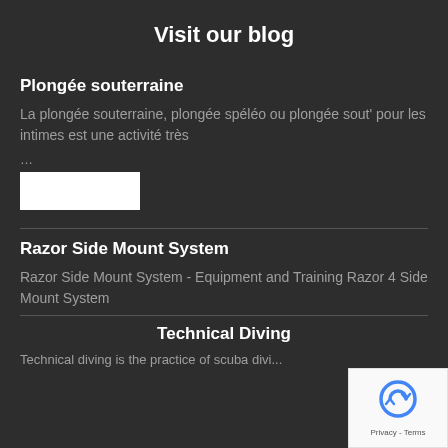Visit our blog
Plongée souterraine
La plongée souterraine, plongée spéléo ou plongée sout' pour les intimes est une activité très
...
[Figure (other): White 'Read more' button]
Razor Side Mount System
Razor Side Mount System - Equipment and Training Razor 4 Side Mount System
Technical Diving
Technical diving is the practice of scuba diving...
[Figure (logo): reCAPTCHA badge with Privacy - Terms text]